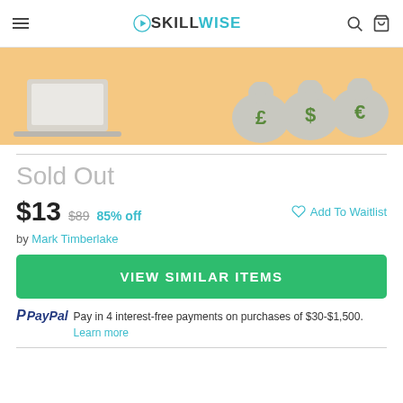SKILLWISE
[Figure (illustration): Banner image with orange/tan background showing money bags with currency symbols £, $, €]
Sold Out
$13  $89  85% off    ♡ Add To Waitlist
by Mark Timberlake
VIEW SIMILAR ITEMS
PayPal  Pay in 4 interest-free payments on purchases of $30-$1,500. Learn more